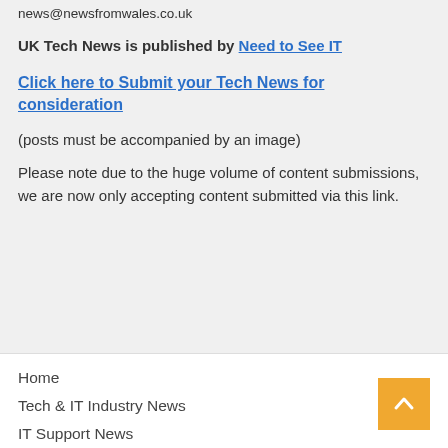news@newsfromwales.co.uk
UK Tech News is published by Need to See IT
Click here to Submit your Tech News for consideration
(posts must be accompanied by an image)
Please note due to the huge volume of content submissions, we are now only accepting content submitted via this link.
Home
Tech & IT Industry News
IT Support News